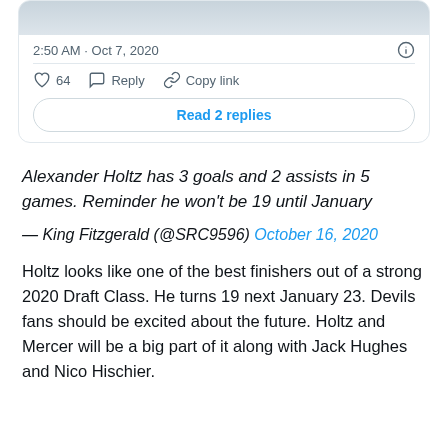[Figure (screenshot): Tweet card showing image stub at top, timestamp '2:50 AM · Oct 7, 2020', info icon, divider line, like count 64, Reply and Copy link actions, and a 'Read 2 replies' button]
Alexander Holtz has 3 goals and 2 assists in 5 games. Reminder he won't be 19 until January
— King Fitzgerald (@SRC9596) October 16, 2020
Holtz looks like one of the best finishers out of a strong 2020 Draft Class. He turns 19 next January 23. Devils fans should be excited about the future. Holtz and Mercer will be a big part of it along with Jack Hughes and Nico Hischier.